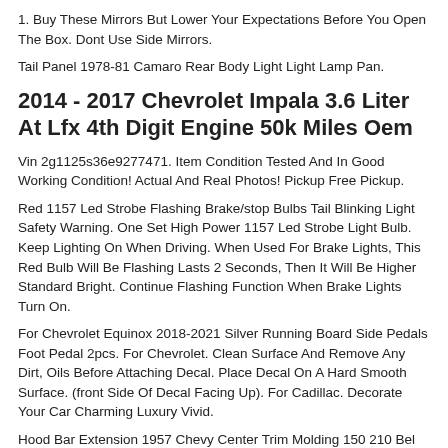1. Buy These Mirrors But Lower Your Expectations Before You Open The Box. Dont Use Side Mirrors.
Tail Panel 1978-81 Camaro Rear Body Light Light Lamp Pan.
2014 - 2017 Chevrolet Impala 3.6 Liter At Lfx 4th Digit Engine 50k Miles Oem
Vin 2g1125s36e9277471. Item Condition Tested And In Good Working Condition! Actual And Real Photos! Pickup Free Pickup.
Red 1157 Led Strobe Flashing Brake/stop Bulbs Tail Blinking Light Safety Warning. One Set High Power 1157 Led Strobe Light Bulb. Keep Lighting On When Driving. When Used For Brake Lights, This Red Bulb Will Be Flashing Lasts 2 Seconds, Then It Will Be Higher Standard Bright. Continue Flashing Function When Brake Lights Turn On.
For Chevrolet Equinox 2018-2021 Silver Running Board Side Pedals Foot Pedal 2pcs. For Chevrolet. Clean Surface And Remove Any Dirt, Oils Before Attaching Decal. Place Decal On A Hard Smooth Surface. (front Side Of Decal Facing Up). For Cadillac. Decorate Your Car Charming Luxury Vivid.
Hood Bar Extension 1957 Chevy Center Trim Molding 150 210 Bel Air Ho13-57cc. New Center Trim Bar Extension Moldings As Shown In The Picture For...